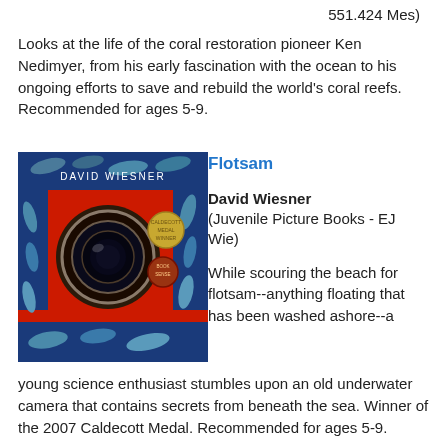551.424 Mes)
Looks at the life of the coral restoration pioneer Ken Nedimyer, from his early fascination with the ocean to his ongoing efforts to save and rebuild the world's coral reefs. Recommended for ages 5-9.
Flotsam
David Wiesner
(Juvenile Picture Books - EJ Wie)
[Figure (photo): Book cover of Flotsam by David Wiesner showing a red background with fish and a camera lens]
While scouring the beach for flotsam--anything floating that has been washed ashore--a young science enthusiast stumbles upon an old underwater camera that contains secrets from beneath the sea. Winner of the 2007 Caldecott Medal. Recommended for ages 5-9.